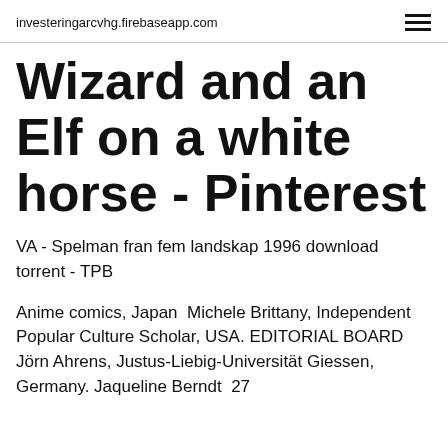investeringarcvhg.firebaseapp.com
Wizard and an Elf on a white horse - Pinterest
VA - Spelman fran fem landskap 1996 download torrent - TPB
Anime comics, Japan  Michele Brittany, Independent Popular Culture Scholar, USA. EDITORIAL BOARD Jörn Ahrens, Justus-Liebig-Universität Giessen, Germany. Jaqueline Berndt  27